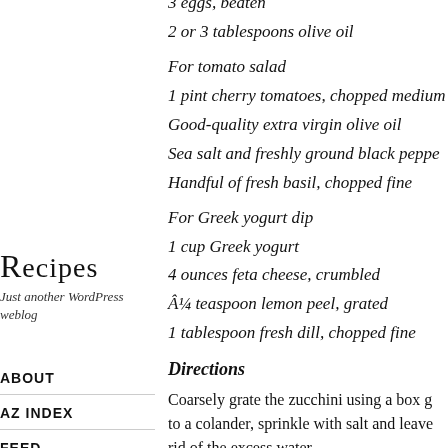3 eggs, beaten
2 or 3 tablespoons olive oil
For tomato salad
1 pint cherry tomatoes, chopped medium
Good-quality extra virgin olive oil
Sea salt and freshly ground black pepper
Handful of fresh basil, chopped fine
For Greek yogurt dip
1 cup Greek yogurt
4 ounces feta cheese, crumbled
¼ teaspoon lemon peel, grated
1 tablespoon fresh dill, chopped fine
Directions
Coarsely grate the zucchini using a box g to a colander, sprinkle with salt and leave rid of the excess water.
Put the chopped scallions in a bowl and c
Recipes
Just another WordPress weblog
ABOUT
AZ INDEX
FEED